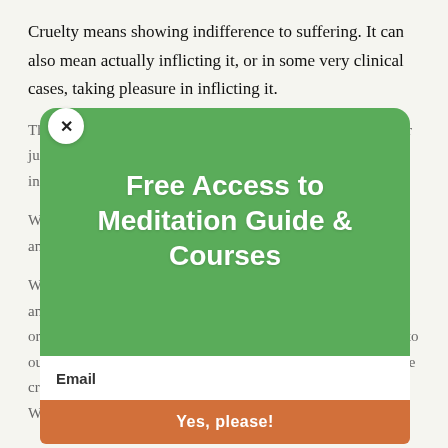Cruelty means showing indifference to suffering. It can also mean actually inflicting it, or in some very clinical cases, taking pleasure in inflicting it.
There are forces that drive this cruelty – unconscious dislikes or just a feeling of being uncomfortable with something. This all inflicts suffering.
We can be all 'nice people' but still inflict suffering to ourselves and/or others.
We need to make conscious efforts to acknowledge our dislikes and see that another person does actually suffer. This awareness or mindfulness of suffering brings understanding and kindness to our own selves and others. You simply cannot move to eliminate cruelty without a better understanding of yourself and others. When you do understand and accept, the unconscious
Free Access to Meditation Guide & Courses
Email
Yes, please!